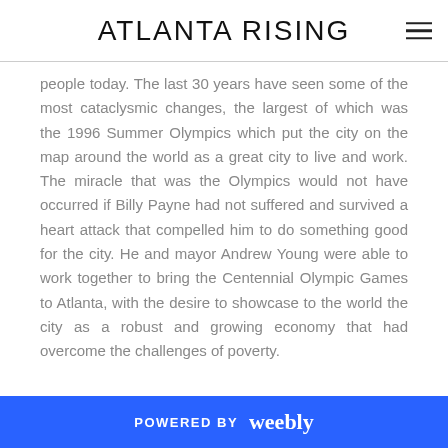ATLANTA RISING
people today. The last 30 years have seen some of the most cataclysmic changes, the largest of which was the 1996 Summer Olympics which put the city on the map around the world as a great city to live and work. The miracle that was the Olympics would not have occurred if Billy Payne had not suffered and survived a heart attack that compelled him to do something good for the city. He and mayor Andrew Young were able to work together to bring the Centennial Olympic Games to Atlanta, with the desire to showcase to the world the city as a robust and growing economy that had overcome the challenges of poverty.
POWERED BY weebly